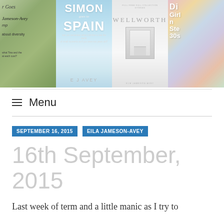[Figure (illustration): Four book covers displayed side by side: 1) A green nature cover with text 'Goes', 'Jameson-Avey', 'about diversity'; 2) 'Simon Goes To Spain' by E J Avey with blue sky and ocean; 3) 'Wellworth' light grey cover with door image; 4) Partial colorful striped cover]
Menu
SEPTEMBER 16, 2015
EILA JAMESON-AVEY
16th September, 2015
Last week of term and a little manic as I try to